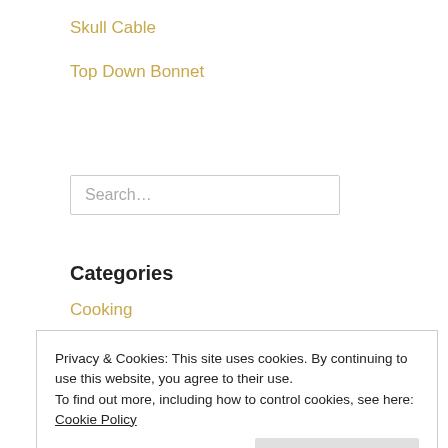Skull Cable
Top Down Bonnet
Search…
Categories
Cooking
Crochet
Fiber Club
Handspinning
Handspun Handknit
Privacy & Cookies: This site uses cookies. By continuing to use this website, you agree to their use.
To find out more, including how to control cookies, see here: Cookie Policy
Close and accept
samplealong